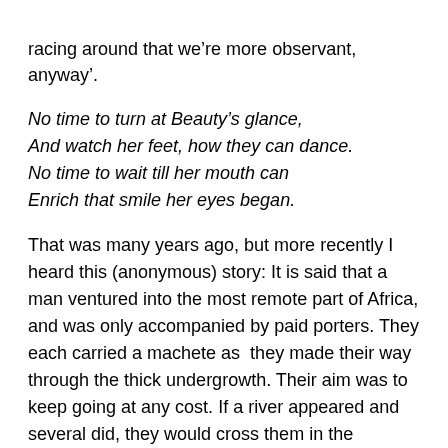racing around that we're more observant, anyway'.
No time to turn at Beauty's glance,
And watch her feet, how they can dance.
No time to wait till her mouth can
Enrich that smile her eyes began.
That was many years ago, but more recently I heard this (anonymous) story: It is said that a man ventured into the most remote part of Africa, and was only accompanied by paid porters. They each carried a machete as they made their way through the thick undergrowth. Their aim was to keep going at any cost. If a river appeared and several did, they would cross them in the shortest time possible. If there was a hill and there were many, they quickened their pace so as not to waste a minute. But suddenly, and without warning, the porters stopped. The explorer was